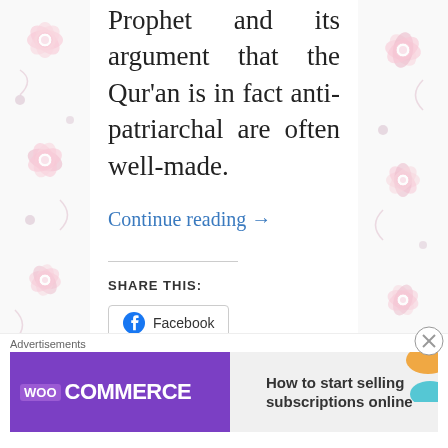Prophet and its argument that the Qur'an is in fact anti-patriarchal are often well-made.
Continue reading →
SHARE THIS:
[Figure (other): Facebook share button with Facebook logo icon]
Loading...
Posted in Death to patriarchy | 1 Reply
[Figure (other): WooCommerce advertisement banner: How to start selling subscriptions online]